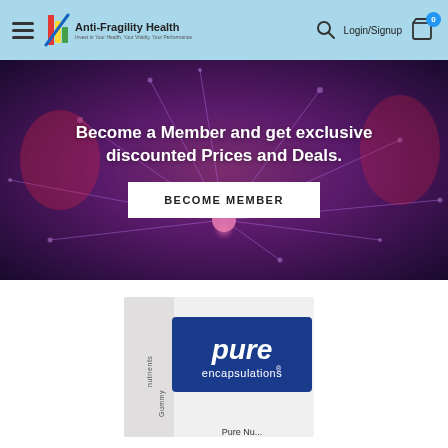[Figure (screenshot): Website header with hamburger menu, Anti-Fragility Health logo, search icon, Login/Signup text, and cart icon with badge showing 0]
[Figure (photo): Hero banner with neural synapse background image in purple/pink tones]
Become a Member and get exclusive discounted Prices and Deals.
BECOME MEMBER
[Figure (photo): Pure Encapsulations product box showing 'pure encapsulations' logo and partial text reading 'nutrients' and 'Gummy']